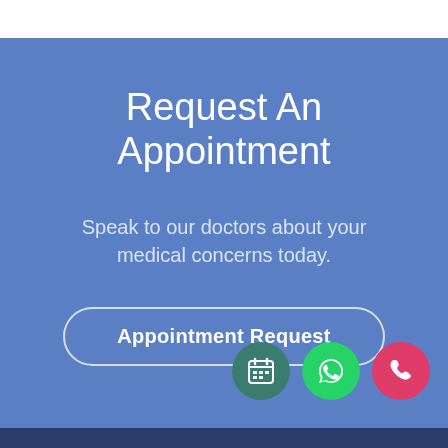Request An Appointment
Speak to our doctors about your medical concerns today.
Appointment Request
[Figure (infographic): Three circular icon buttons: a teal calendar icon, a green WhatsApp icon, and a pink/red phone icon.]